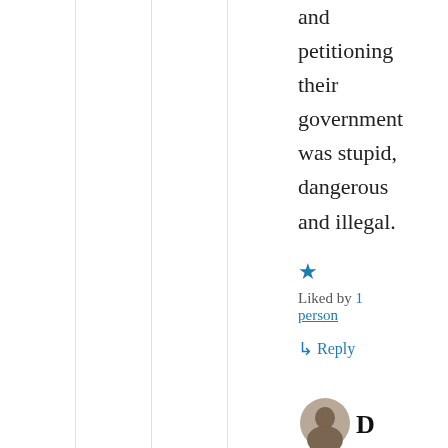and petitioning their government was stupid, dangerous and illegal.
★ Liked by 1 person
↳ Reply
[Figure (photo): Partial view of a comment box with a person avatar and letter D, indicating a new comment reply area]